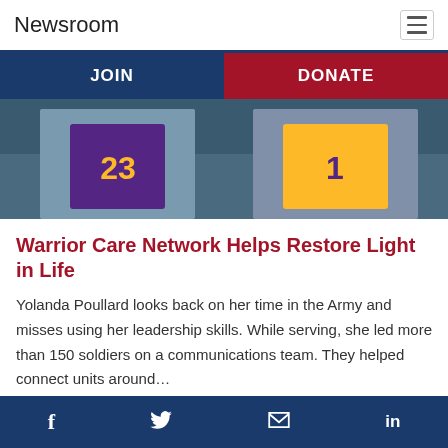Newsroom
JOIN
DONATE
[Figure (photo): Two people wearing Los Angeles Lakers basketball jerseys (numbers 23 and 1), photographed from torso down, wearing denim jackets]
Warrior Care Network Helps Restore Light in Life
Yolanda Poullard looks back on her time in the Army and misses using her leadership skills. While serving, she led more than 150 soldiers on a communications team. They helped connect units around…
f  Twitter  Email  in